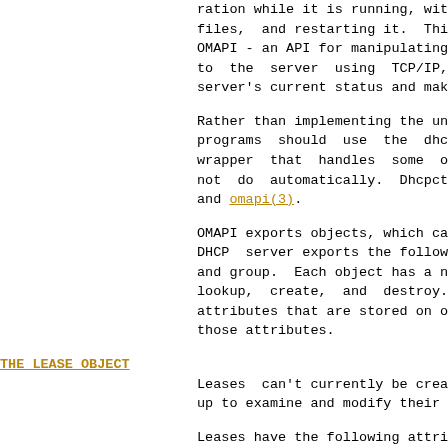ration while it is running, without stopping it, rewriting its configuration files,  and restarting it.  This capability is provided through OMAPI - an API for manipulating remote objects.  Programs connect to the server using  TCP/IP,  authenticate,  and  can  then  examine  the server's current status and make changes to it.
Rather than implementing the underlying OMAPI protocol directly, programs should use the dhcpctl API or the OMAPI library. dhcpctl is a wrapper that handles some of the housekeeping functions that OMAPI does not  do  automatically.  Dhcpctl and OMAPI are documented in dhcpctl(3) and omapi(3).
OMAPI exports objects, which can then be examined or modified. The ISC DHCP  server exports the following objects: lease, host, failover-state, and group.  Each object has a number of methods that are defined for it: lookup, create,  and  destroy.  In addition, each object has a set of attributes that are stored on objects, and  methods  that  can  be  used  to examine or modify those attributes.
THE LEASE OBJECT
Leases  can't currently be created or destroyed, but they can be looked up to examine and modify their state.
Leases have the following attributes:
state integer lookup, examine
      1 = free
      2 = active